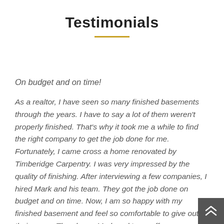Testimonials
On budget and on time!
As a realtor, I have seen so many finished basements through the years. I have to say a lot of them weren't properly finished. That's why it took me a while to find the right company to get the job done for me. Fortunately, I came cross a home renovated by Timberidge Carpentry. I was very impressed by the quality of finishing. After interviewing a few companies, I hired Mark and his team. They got the job done on budget and on time. Now, I am so happy with my finished basement and feel so comfortable to give out their name. The above. Mark and team offer a surprisingly all...